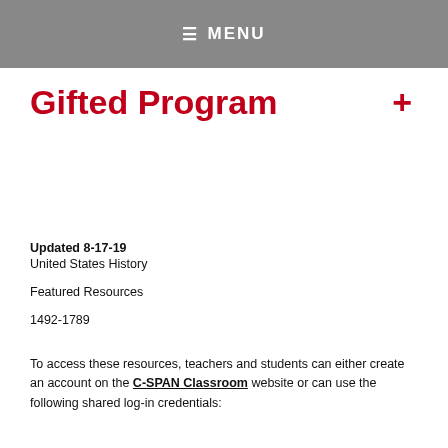≡ MENU
Gifted Program
Updated 8-17-19
United States History
Featured Resources
1492-1789
To access these resources, teachers and students can either create an account on the C-SPAN Classroom website or can use the following shared log-in credentials: